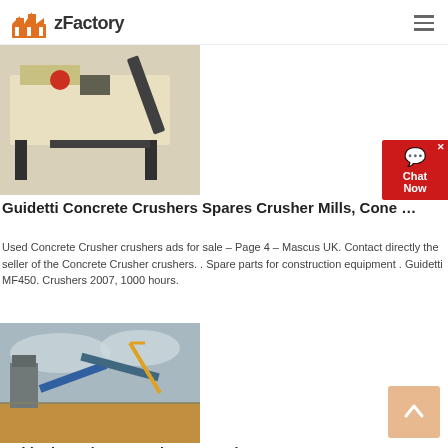zFactory
[Figure (photo): Mobile crusher machine on a trailer, industrial equipment]
Guidetti Concrete Crushers Spares Crusher Mills, Cone …
Used Concrete Crusher crushers ads for sale – Page 4 – Mascus UK. Contact directly the seller of the Concrete Crusher crushers. . Spare parts for construction equipment . Guidetti MF450. Crushers 2007, 1000 hours.
Read More
[Figure (photo): Guidetti crusher plant at a quarry site with conveyors and sky background]
Guidetti Crusher For Sale U S Crusher
2021-6-3   Guidetti Concrete Crushers Spares Crusher Mills Cone. We have a guidetti mf 450 trailer mounted crusher which can be towed…